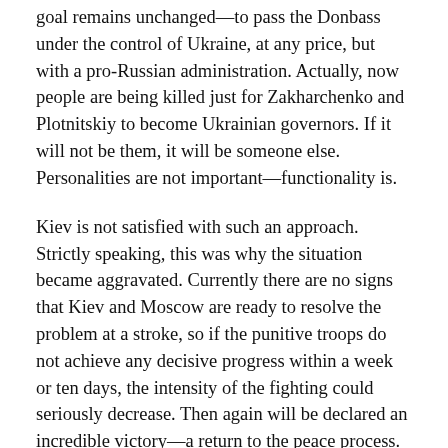goal remains unchanged—to pass the Donbass under the control of Ukraine, at any price, but with a pro-Russian administration. Actually, now people are being killed just for Zakharchenko and Plotnitskiy to become Ukrainian governors. If it will not be them, it will be someone else. Personalities are not important—functionality is.
Kiev is not satisfied with such an approach. Strictly speaking, this was why the situation became aggravated. Currently there are no signs that Kiev and Moscow are ready to resolve the problem at a stroke, so if the punitive troops do not achieve any decisive progress within a week or ten days, the intensity of the fighting could seriously decrease. Then again will be declared an incredible victory—a return to the peace process. Until the next exacerbation.
The only thing that the Militia can try to achieve in this situation